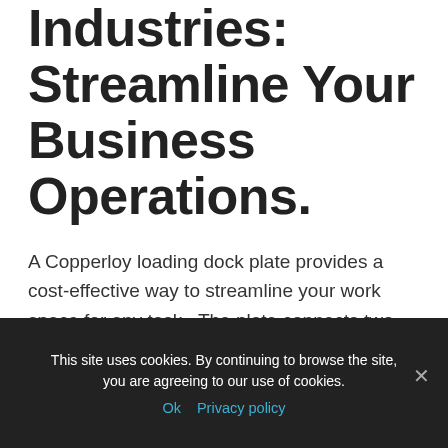Industries: Streamline Your Business Operations.
A Copperloy loading dock plate provides a cost-effective way to streamline your work space for any task.  The plate connects two areas in a work space for efficient transitions.  Loading dock plates are ideal for light applications while loading dock boards work better with heavy-duty tasks.
Aluminum Loading
This site uses cookies. By continuing to browse the site, you are agreeing to our use of cookies.
Ok  Privacy policy